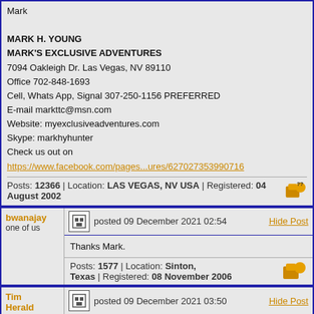Mark

MARK H. YOUNG
MARK'S EXCLUSIVE ADVENTURES
7094 Oakleigh Dr. Las Vegas, NV 89110
Office 702-848-1693
Cell, Whats App, Signal 307-250-1156 PREFERRED
E-mail markttc@msn.com
Website: myexclusiveadventures.com
Skype: markhyhunter
Check us out on
https://www.facebook.com/pages...ures/627027353990716
Posts: 12366 | Location: LAS VEGAS, NV USA | Registered: 04 August 2002
bwanajay
one of us
posted 09 December 2021 02:54
Hide Post
Thanks Mark.
Posts: 1577 | Location: Sinton, Texas | Registered: 08 November 2006
Tim Herald
one of us
posted 09 December 2021 03:50
Hide Post
Good stuff Mark. I really want to go there.

Good Hunting,

Tim Herald
Worldwide Trophy Adventures
tim@trophyadventures.com